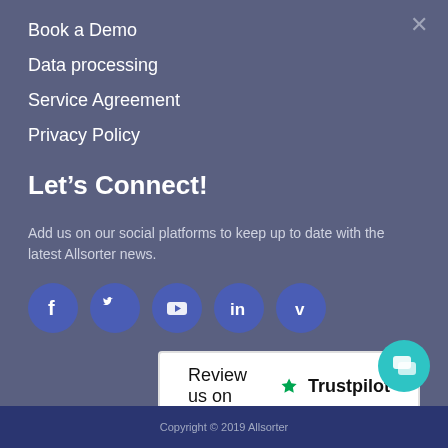Book a Demo
Data processing
Service Agreement
Privacy Policy
Let's Connect!
Add us on our social platforms to keep up to date with the latest Allsorter news.
[Figure (other): Social media icon buttons: Facebook, Twitter, YouTube, LinkedIn, Vimeo]
[Figure (other): Trustpilot review badge: Review us on Trustpilot]
Copyright © 2019 Allsorter